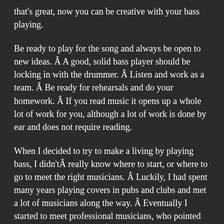that's great, now you can be creative with your bass playing.
Be ready to play for the song and always be open to new ideas. Â A good, solid bass player should be locking in with the drummer. Â Listen and work as a team. Â Be ready for rehearsals and do your homework. Â If you read music it opens up a whole lot of work for you, although a lot of work is done by ear and does not require reading.
When I decided to try to make a living by playing bass, I didn'tÂ really know where to start, or where to go to meet the right musicians. Â Luckily, I had spent many years playing covers in pubs and clubs and met a lot of musicians along the way. Â Eventually I started to meet professional musicians, who pointed me in the right direction.Â  I learned a lot from these musicians, whom I am very grateful for.